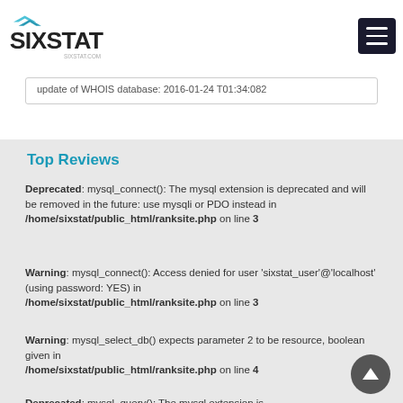SIXSTAT
update of WHOIS database: 2016-01-24 T01:34:082
Top Reviews
Deprecated: mysql_connect(): The mysql extension is deprecated and will be removed in the future: use mysqli or PDO instead in /home/sixstat/public_html/ranksite.php on line 3
Warning: mysql_connect(): Access denied for user 'sixstat_user'@'localhost' (using password: YES) in /home/sixstat/public_html/ranksite.php on line 3
Warning: mysql_select_db() expects parameter 2 to be resource, boolean given in /home/sixstat/public_html/ranksite.php on line 4
Deprecated: mysql_query(): The mysql extension is deprecated and will be removed in the future...